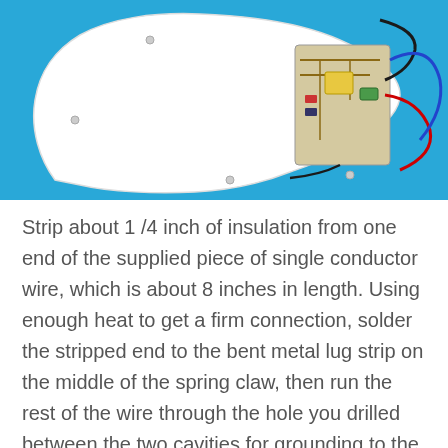[Figure (photo): Photo of a white guitar pickguard with electronic components and wiring on a blue background, showing the assembly with a spring claw and wires.]
Strip about 1/4 inch of insulation from one end of the supplied piece of single conductor wire, which is about 8 inches in length. Using enough heat to get a firm connection, solder the stripped end to the bent metal lug strip on the middle of the spring claw, then run the rest of the wire through the hole you drilled between the two cavities for grounding to the electronic assembly later (photos 1.83 and 1.84).